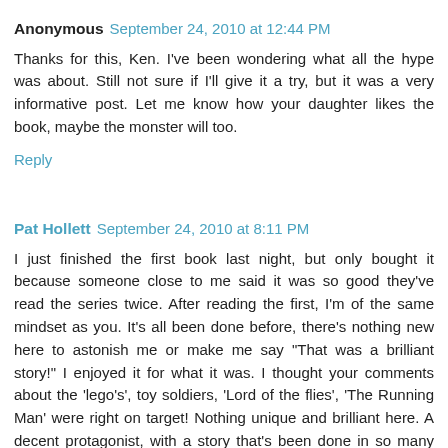Anonymous  September 24, 2010 at 12:44 PM
Thanks for this, Ken. I've been wondering what all the hype was about. Still not sure if I'll give it a try, but it was a very informative post. Let me know how your daughter likes the book, maybe the monster will too.
Reply
Pat Hollett  September 24, 2010 at 8:11 PM
I just finished the first book last night, but only bought it because someone close to me said it was so good they've read the series twice. After reading the first, I'm of the same mindset as you. It's all been done before, there's nothing new here to astonish me or make me say "That was a brilliant story!" I enjoyed it for what it was. I thought your comments about the 'lego's', toy soldiers, 'Lord of the flies', 'The Running Man' were right on target! Nothing unique and brilliant here. A decent protagonist, with a story that's been done in so many ways before that the ending was